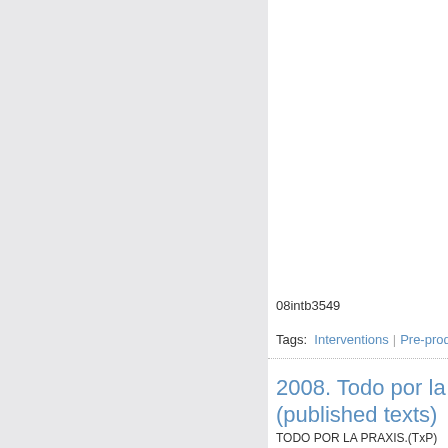08intb3549
Tags: Interventions | Pre-production
2008. Todo por la (published texts)
TODO POR LA PRAXIS.(TxP) is p effective amplification of social str